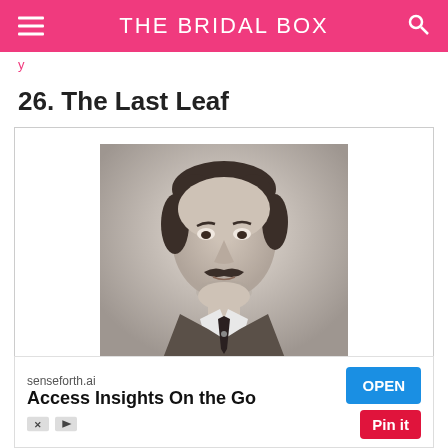THE BRIDAL BOX
y
26. The Last Leaf
[Figure (photo): Black and white portrait photograph of a man with a mustache wearing a suit with a white collar, likely O. Henry (William Sydney Porter), with a small caption below the image.]
senseforth.ai
Access Insights On the Go
OPEN